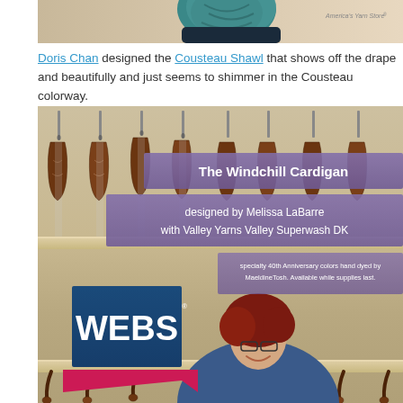[Figure (photo): Top portion of a person wearing a teal knitted shawl/cowl, with 'America's Yarn Store' text in upper right corner]
Doris Chan designed the Cousteau Shawl that shows off the drape and beautifully and just seems to shimmer in the Cousteau colorway.
[Figure (photo): WEBS yarn store advertisement photo showing violins hanging on a wall shelf, a smiling woman with red hair and glasses wearing a blue cardigan, overlaid with purple banners reading 'The Windchill Cardigan designed by Melissa LaBarre with Valley Yarns Valley Superwash DK' and specialty note about 40th Anniversary colors hand dyed by MaeldineTosh. WEBS logo in lower left with blue background and pink ribbon.]